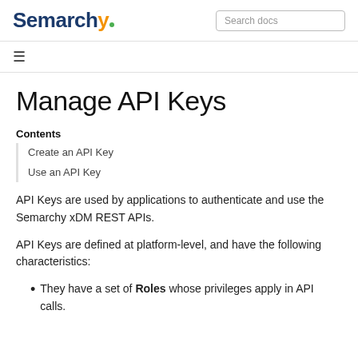Semarchy | Search docs
Manage API Keys
Contents
Create an API Key
Use an API Key
API Keys are used by applications to authenticate and use the Semarchy xDM REST APIs.
API Keys are defined at platform-level, and have the following characteristics:
They have a set of Roles whose privileges apply in API calls.